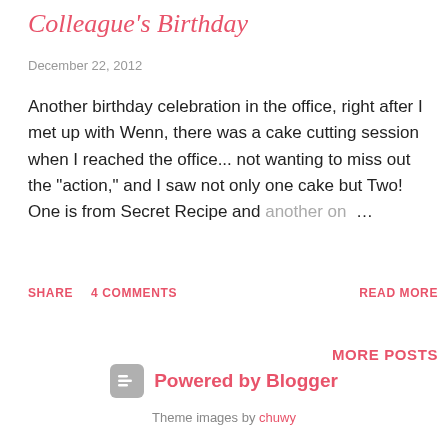Colleague's Birthday
December 22, 2012
Another birthday celebration in the office, right after I met up with Wenn, there was a cake cutting session when I reached the office... not wanting to miss out the "action," and I saw not only one cake but Two!  One is from Secret Recipe and another on...
SHARE   4 COMMENTS   READ MORE
MORE POSTS
Powered by Blogger
Theme images by chuwy